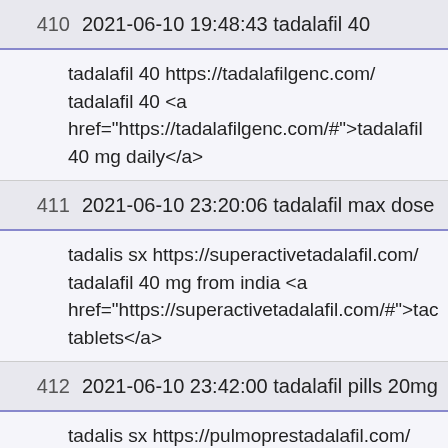| # | Timestamp / Query | Content |
| --- | --- | --- |
| 410 | 2021-06-10 19:48:43 tadalafil 40 | tadalafil 40 https://tadalafilgenc.com/ tadalafil 40 <a href="https://tadalafilgenc.com/#">tadalafil 40 mg daily</a> |
| 411 | 2021-06-10 23:20:06 tadalafil max dose | tadalis sx https://superactivetadalafil.com/ tadalafil 40 mg from india <a href="https://superactivetadalafil.com/#">tac tablets</a> |
| 412 | 2021-06-10 23:42:00 tadalafil pills 20mg | tadalis sx https://pulmoprestadalafil.com/ tadalafil dosage <a |